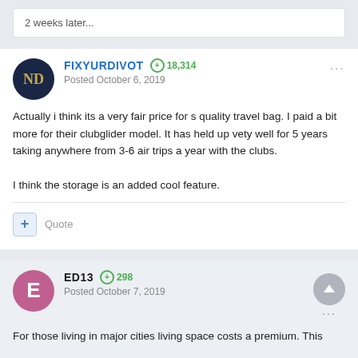2 weeks later...
FIXYURDIVOT · +18,314 · Posted October 6, 2019
Actually i think its a very fair price for s quality travel bag.  I paid a bit more for their clubglider model.  It has held up vety well for 5 years taking anywhere from 3-6  air trips a year with the clubs.

I think the storage is an added cool feature.
Quote
ED13 · +298 · Posted October 7, 2019
For those living in major cities living space costs a premium.  This